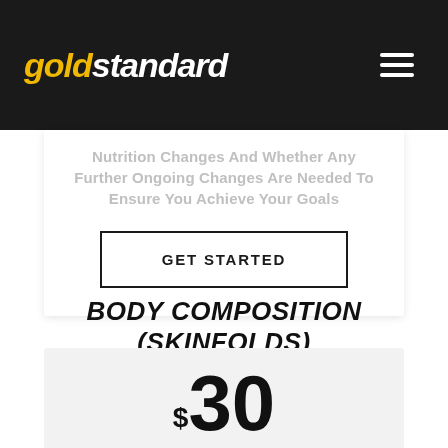goldstandard
Nutrition Changes And Whether Any Further Ongoing Changes Are Needed To Ensure You Achieve Your Goals
GET STARTED
BODY COMPOSITION (SKINFOLDS)
$30